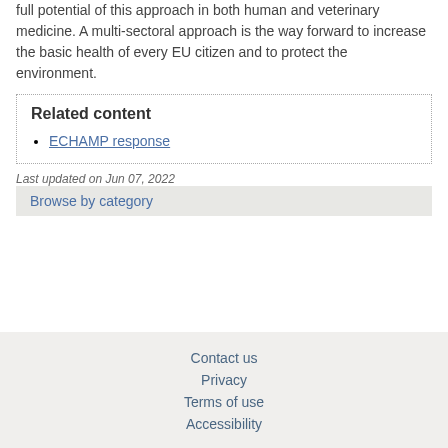full potential of this approach in both human and veterinary medicine. A multi-sectoral approach is the way forward to increase the basic health of every EU citizen and to protect the environment.
Related content
ECHAMP response
Last updated on Jun 07, 2022
Browse by category
Contact us
Privacy
Terms of use
Accessibility